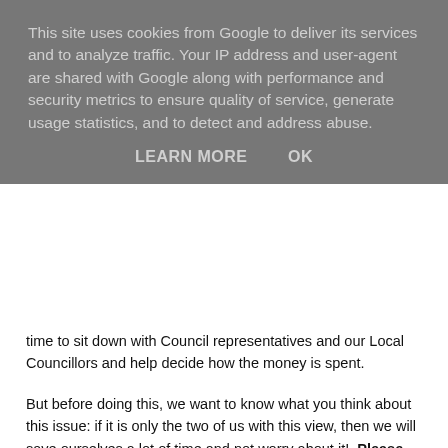[Figure (other): Cookie consent overlay banner with text: 'This site uses cookies from Google to deliver its services and to analyze traffic. Your IP address and user-agent are shared with Google along with performance and security metrics to ensure quality of service, generate usage statistics, and to detect and address abuse.' with LEARN MORE and OK buttons.]
time to sit down with Council representatives and our Local Councillors and help decide how the money is spent.
But before doing this, we want to know what you think about this issue: if it is only the two of us with this view, then we will save ourselves a lot of time and not worry about it!  Please could you send a quick email to say whether this is an important issue to you?  If you have specific ideas on how the additional money should be spent or would like to be more involved in the process yourself please do also include that information.
Annual General Meeting minutes and outcomes